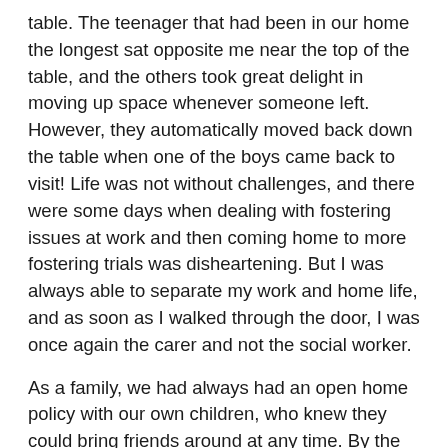table. The teenager that had been in our home the longest sat opposite me near the top of the table, and the others took great delight in moving up space whenever someone left. However, they automatically moved back down the table when one of the boys came back to visit! Life was not without challenges, and there were some days when dealing with fostering issues at work and then coming home to more fostering trials was disheartening. But I was always able to separate my work and home life, and as soon as I walked through the door, I was once again the carer and not the social worker.
As a family, we had always had an open home policy with our own children, who knew they could bring friends around at any time. By the time we started fostering, our children had left home, so becoming foster carers seemed a natural extension of the open home we had embraced for years. All three of our children moved back home at various times while we were fostering, but that is a whole other story!
Our life fitted around the needs of the boys, and they were wholeheartedly welcomed by our children, the wider